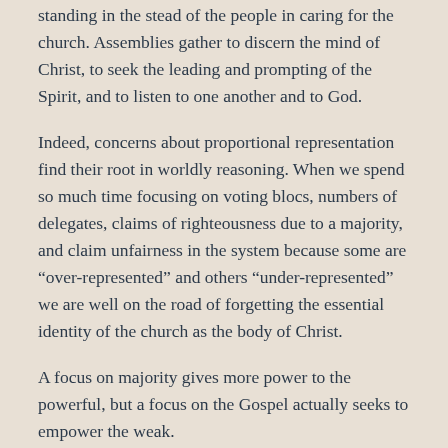standing in the stead of the people in caring for the church. Assemblies gather to discern the mind of Christ, to seek the leading and prompting of the Spirit, and to listen to one another and to God.
Indeed, concerns about proportional representation find their root in worldly reasoning. When we spend so much time focusing on voting blocs, numbers of delegates, claims of righteousness due to a majority, and claim unfairness in the system because some are “over-represented” and others “under-represented” we are well on the road of forgetting the essential identity of the church as the body of Christ.
A focus on majority gives more power to the powerful, but a focus on the Gospel actually seeks to empower the weak.
So the body has been a conversation forum on the church’s